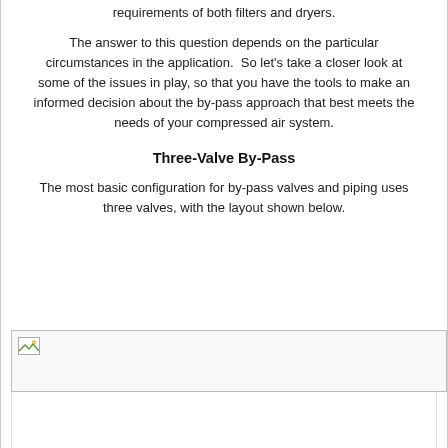requirements of both filters and dryers.
The answer to this question depends on the particular circumstances in the application.  So let's take a closer look at some of the issues in play, so that you have the tools to make an informed decision about the by-pass approach that best meets the needs of your compressed air system.
Three-Valve By-Pass
The most basic configuration for by-pass valves and piping uses three valves, with the layout shown below.
[Figure (photo): Image placeholder showing a diagram of a three-valve by-pass layout (image not loaded, shown as broken image icon)]